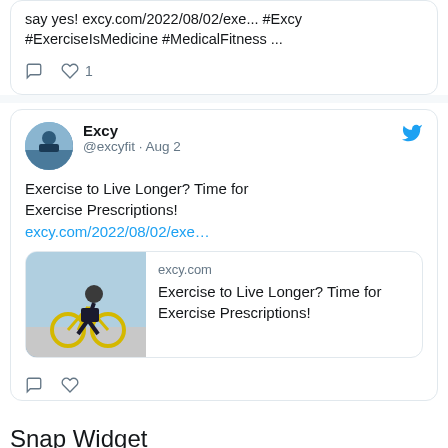say yes! excy.com/2022/08/02/exe... #Excy #ExerciseIsMedicine #MedicalFitness ...
[Figure (screenshot): Tweet from @excyfit showing exercise content with text 'Exercise to Live Longer? Time for Exercise Prescriptions!' and link card]
Snap Widget